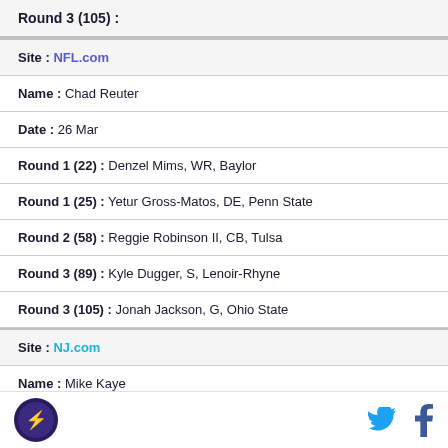Round 3 (105) :
Site : NFL.com
Name : Chad Reuter
Date : 26 Mar
Round 1 (22) : Denzel Mims, WR, Baylor
Round 1 (25) : Yetur Gross-Matos, DE, Penn State
Round 2 (58) : Reggie Robinson II, CB, Tulsa
Round 3 (89) : Kyle Dugger, S, Lenoir-Rhyne
Round 3 (105) : Jonah Jackson, G, Ohio State
Site : NJ.com
Name : Mike Kaye
Logo | Twitter | Facebook